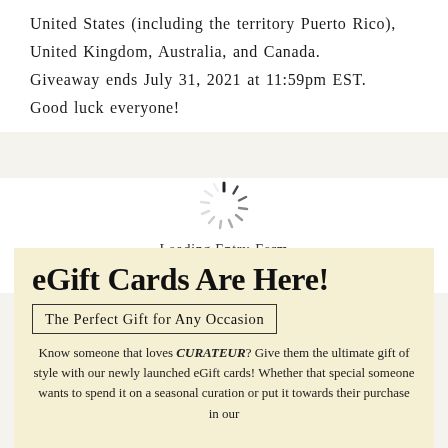United States (including the territory Puerto Rico), United Kingdom, Australia, and Canada. Giveaway ends July 31, 2021 at 11:59pm EST. Good luck everyone!
[Figure (other): Loading spinner icon with dashes radiating from center]
Loading Entry-Form
-Form
eGift Cards Are Here!
The Perfect Gift for Any Occasion
Know someone that loves CURATEUR? Give them the ultimate gift of style with our newly launched eGift cards! Whether that special someone wants to spend it on a seasonal curation or put it towards their purchase in our